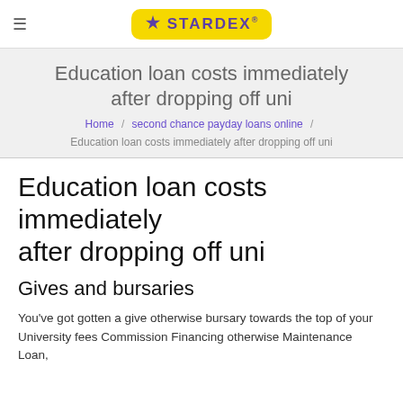≡  STARDEX®
Education loan costs immediately after dropping off uni
Home / second chance payday loans online / Education loan costs immediately after dropping off uni
Education loan costs immediately after dropping off uni
Gives and bursaries
You've got gotten a give otherwise bursary towards the top of your University fees Commission Financing otherwise Maintenance Loan,